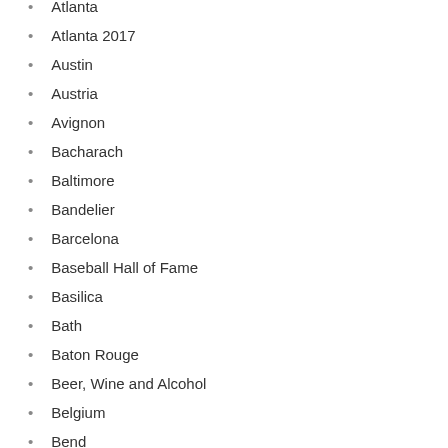Atlanta
Atlanta 2017
Austin
Austria
Avignon
Bacharach
Baltimore
Bandelier
Barcelona
Baseball Hall of Fame
Basilica
Bath
Baton Rouge
Beer, Wine and Alcohol
Belgium
Bend
Bentonville